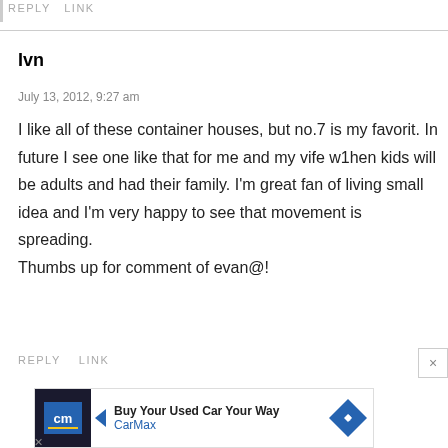REPLY   LINK
Ivn
July 13, 2012, 9:27 am
I like all of these container houses, but no.7 is my favorit. In future I see one like that for me and my vife w1hen kids will be adults and had their family. I'm great fan of living small idea and I'm very happy to see that movement is spreading.
Thumbs up for comment of evan@!
REPLY   LINK
[Figure (other): CarMax advertisement banner: 'Buy Your Used Car Your Way' with CarMax logo and blue diamond arrow icon]